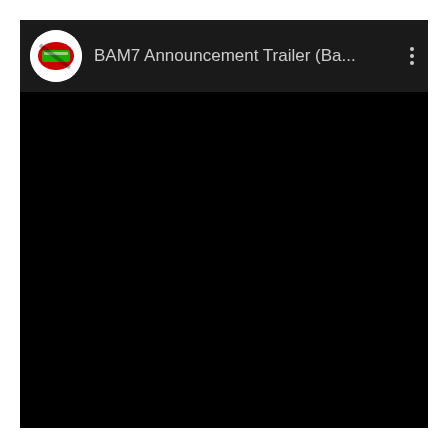[Figure (screenshot): Screenshot of a video player UI on a dark/black background. In the top-left there is a circular logo (white background with red and green graphic). Next to it is the title text 'BAM7 Announcement Trailer (Ba...' in light grey. In the top-right corner is a vertical three-dot menu icon. The rest of the screen is entirely black (video content area).]